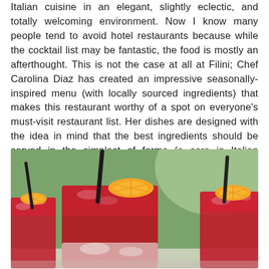Italian cuisine in an elegant, slightly eclectic, and totally welcoming environment. Now I know many people tend to avoid hotel restaurants because while the cocktail list may be fantastic, the food is mostly an afterthought. This is not the case at all at Filini; Chef Carolina Diaz has created an impressive seasonally-inspired menu (with locally sourced ingredients) that makes this restaurant worthy of a spot on everyone's must-visit restaurant list. Her dishes are designed with the idea in mind that the best ingredients should be served in the simplest of forms (a core in Italian cooking) - she strives to stay as true as possible to traditional Italian techniques, but with a contemporary, local twist.
[Figure (photo): Three tall glasses filled with red/crimson crushed ice cocktails, each garnished with an orange slice and a black straw, set against a blurred green plant background.]